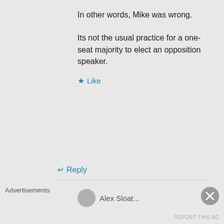In other words, Mike was wrong.

Its not the usual practice for a one-seat majority to elect an opposition speaker.
Like
Reply
Alex Sloat...
Advertisements
REPORT THIS AD